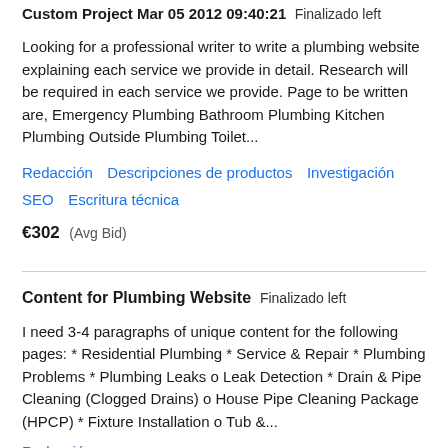Custom Project Mar 05 2012 09:40:21  Finalizado left
Looking for a professional writer to write a plumbing website explaining each service we provide in detail. Research will be required in each service we provide. Page to be written are, Emergency Plumbing Bathroom Plumbing Kitchen Plumbing Outside Plumbing Toilet...
Redacción
Descripciones de productos
Investigación
SEO
Escritura técnica
€302  (Avg Bid)
Content for Plumbing Website  Finalizado left
I need 3-4 paragraphs of unique content for the following pages: * Residential Plumbing * Service & Repair * Plumbing Problems * Plumbing Leaks o Leak Detection * Drain & Pipe Cleaning (Clogged Drains) o House Pipe Cleaning Package (HPCP) * Fixture Installation o Tub &...
Redacción